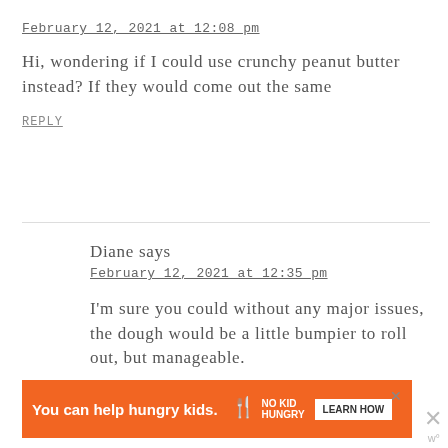February 12, 2021 at 12:08 pm
Hi, wondering if I could use crunchy peanut butter instead? If they would come out the same
REPLY
Diane says
February 12, 2021 at 12:35 pm
I'm sure you could without any major issues, the dough would be a little bumpier to roll out, but manageable.
[Figure (other): Advertisement banner: orange background with text 'You can help hungry kids.' No Kid Hungry logo and LEARN HOW button]